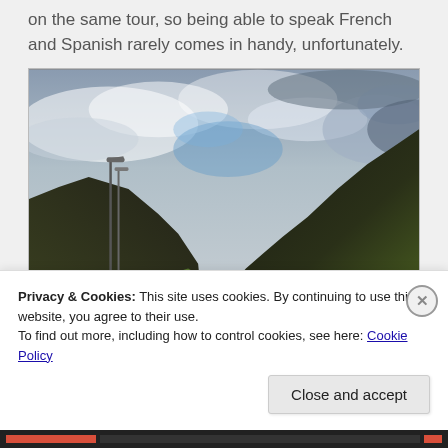on the same tour, so being able to speak French and Spanish rarely comes in handy, unfortunately.
[Figure (photo): Landscape photograph of a valley with green hills, a lamppost on the left, cloudy sky above, and small buildings in the valley below.]
Privacy & Cookies: This site uses cookies. By continuing to use this website, you agree to their use.
To find out more, including how to control cookies, see here: Cookie Policy